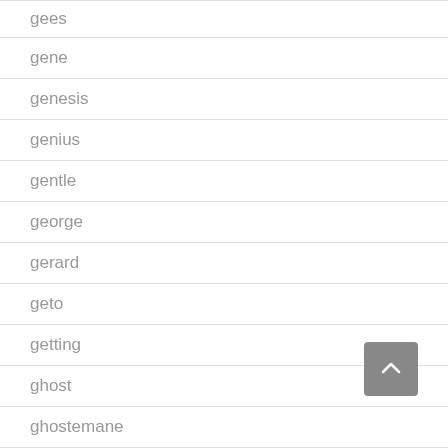gees
gene
genesis
genius
gentle
george
gerard
geto
getting
ghost
ghostemane